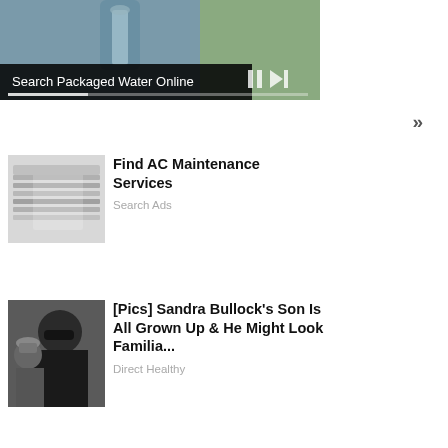[Figure (screenshot): Video ad showing a hand holding a glass of water. Black overlay at bottom left reads 'Search Packaged Water Online'. Video playback controls visible at bottom right with pause and skip buttons. White progress bar at bottom.]
»
[Figure (photo): Thumbnail image of AC unit/maintenance equipment, metallic silver fins.]
Find AC Maintenance Services
Search Ads
[Figure (photo): Thumbnail photo of Sandra Bullock wearing sunglasses with a child behind her.]
[Pics] Sandra Bullock's Son Is All Grown Up & He Might Look Familia...
Direct Healthy